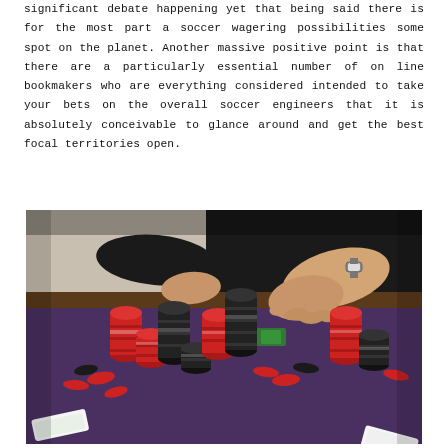significant debate happening yet that being said there is for the most part a soccer wagering possibilities some spot on the planet. Another massive positive point is that there are a particularly essential number of on line bookmakers who are everything considered intended to take your bets on the overall soccer engineers that it is absolutely conceivable to glance around and get the best focal territories open.
[Figure (photo): A photo of casino poker chips stacked on a purple felt table, with a person's hands reaching over the chips from the top of the frame.]